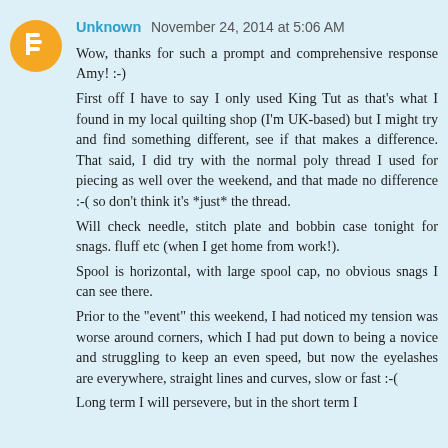Unknown  November 24, 2014 at 5:06 AM

Wow, thanks for such a prompt and comprehensive response Amy! :-)

First off I have to say I only used King Tut as that's what I found in my local quilting shop (I'm UK-based) but I might try and find something different, see if that makes a difference. That said, I did try with the normal poly thread I used for piecing as well over the weekend, and that made no difference :-( so don't think it's *just* the thread.

Will check needle, stitch plate and bobbin case tonight for snags. fluff etc (when I get home from work!).

Spool is horizontal, with large spool cap, no obvious snags I can see there.

Prior to the "event" this weekend, I had noticed my tension was worse around corners, which I had put down to being a novice and struggling to keep an even speed, but now the eyelashes are everywhere, straight lines and curves, slow or fast :-(

Long term I will persevere, but in the short term I